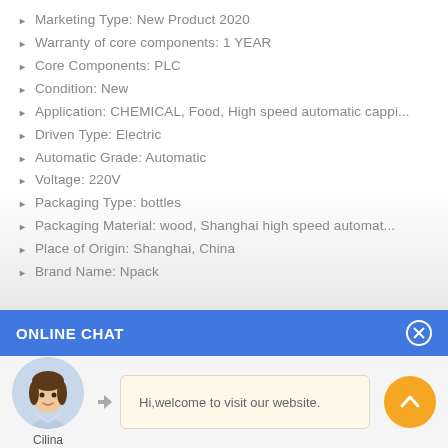Marketing Type: New Product 2020
Warranty of core components: 1 YEAR
Core Components: PLC
Condition: New
Application: CHEMICAL, Food, High speed automatic cappi...
Driven Type: Electric
Automatic Grade: Automatic
Voltage: 220V
Packaging Type: bottles
Packaging Material: wood, Shanghai high speed automat...
Place of Origin: Shanghai, China
Brand Name: Npack
ONLINE CHAT
[Figure (illustration): Online chat widget with avatar of a woman named Cilina and a welcome message bubble]
Hi,welcome to visit our website.
Cilina